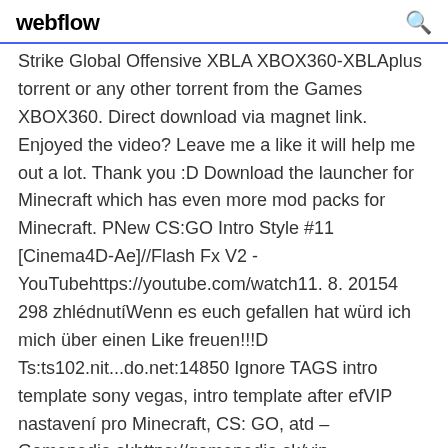webflow
Strike Global Offensive XBLA XBOX360-XBLAplus torrent or any other torrent from the Games XBOX360. Direct download via magnet link. Enjoyed the video? Leave me a like it will help me out a lot. Thank you :D Download the launcher for Minecraft which has even more mod packs for Minecraft. PNew CS:GO Intro Style #11 [Cinema4D-Ae]//Flash Fx V2 - YouTubehttps://youtube.com/watch11. 8. 20154 298 zhlédnutíWenn es euch gefallen hat würd ich mich über einen Like freuen!!!D Ts:ts102.nit...do.net:14850 Ignore TAGS intro template sony vegas, intro template after efVIP nastavení pro Minecraft, CS: GO, atd – Gamepedia.skhttps://gamepedia.sk/vip-